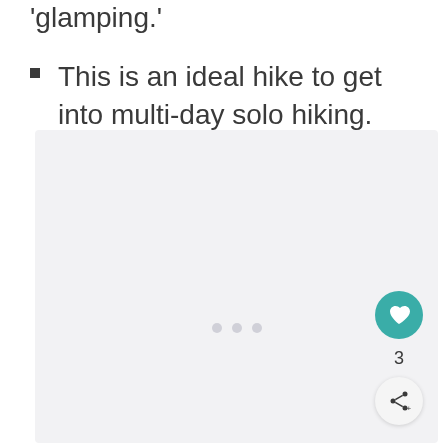'glamping.'
This is an ideal hike to get into multi-day solo hiking.
[Figure (photo): Large image placeholder area with light gray background and three dots pagination indicator at the bottom center.]